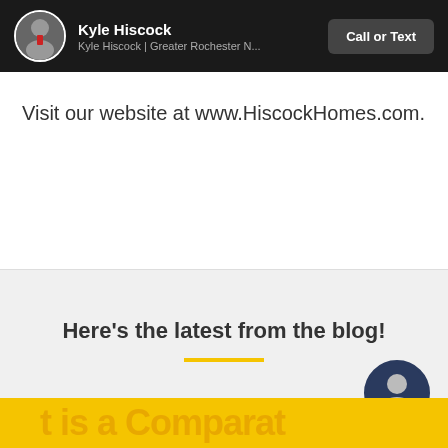Kyle Hiscock | Kyle Hiscock | Greater Rochester N... | Call or Text
Visit our website at www.HiscockHomes.com.
Here's the latest from the blog!
[Figure (illustration): Yellow horizontal divider line and circular avatar photo of a man in a suit, with chat_bubble label]
t is a Comparat